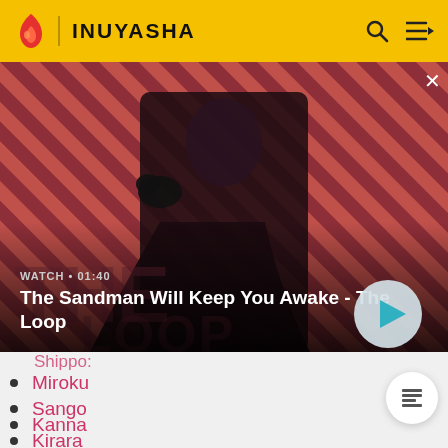INUYASHA
[Figure (screenshot): Hero banner showing a dark-clothed figure with a raven on shoulder against a red and black diagonal stripe background. Text overlay reads WATCH • 01:40 and The Sandman Will Keep You Awake - The Loop with a play button.]
Shippo
Miroku
Sango
Kanna
Kirara